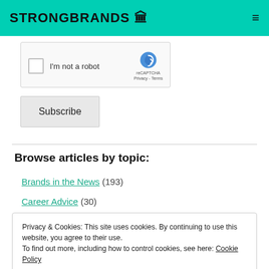STRONGBRANDS
[Figure (screenshot): reCAPTCHA widget with checkbox labeled 'I'm not a robot']
Subscribe
Browse articles by topic:
Brands in the News (193)
Career Advice (30)
Privacy & Cookies: This site uses cookies. By continuing to use this website, you agree to their use. To find out more, including how to control cookies, see here: Cookie Policy
Close and accept